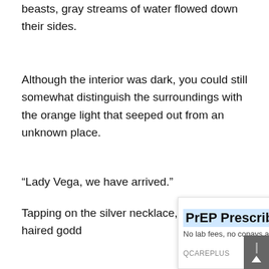beasts, gray streams of water flowed down their sides.
Although the interior was dark, you could still somewhat distinguish the surroundings with the orange light that seeped out from an unknown place.
“Lady Vega, we have arrived.”
Tapping on the silver necklace, a silver-haired godd[ess appeared, bathed in] silver light.
[Figure (other): Advertisement overlay: PrEP Prescribed Online. No lab fees, no copays and no extra cost. QCAREPLUS. Open button. Close X button and ad icon at top right.]